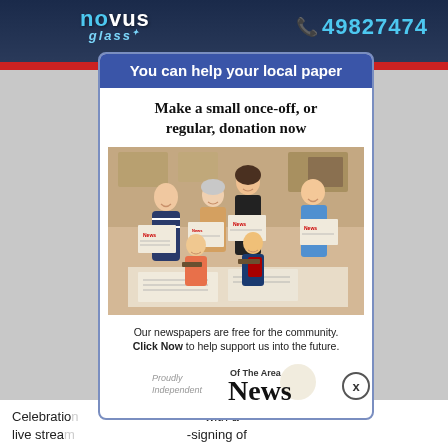[Figure (logo): Novus Glass logo with phone number 49827474 on dark blue background]
You can help your local paper
Make a small once-off, or regular, donation now
[Figure (photo): Group of people holding News Of The Area newspapers, smiling at camera, indoor setting]
Our newspapers are free for the community. Click Now to help support us into the future.
[Figure (logo): Proudly Independent - Of The Area News logo]
Celebration with a live stream -signing of the Y...